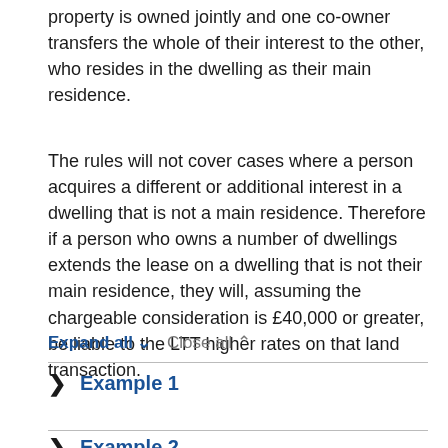property is owned jointly and one co-owner transfers the whole of their interest to the other, who resides in the dwelling as their main residence.
The rules will not cover cases where a person acquires a different or additional interest in a dwelling that is not a main residence. Therefore if a person who owns a number of dwellings extends the lease on a dwelling that is not their main residence, they will, assuming the chargeable consideration is £40,000 or greater, be liable to the LTT higher rates on that land transaction.
Expand all ▾   Close all ▴
Example 1
Example 2